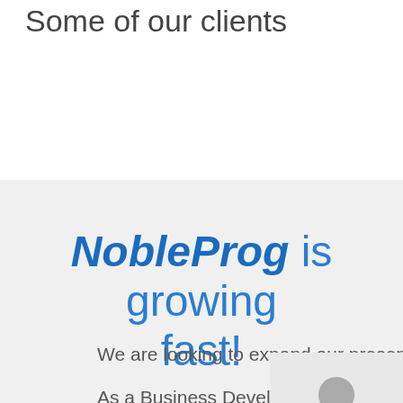Some of our clients
NobleProg is growing fast!
We are looking to expand our presence in Ind
As a Business Development Manager you will:
[Figure (illustration): Generic user/person avatar silhouette icon in gray, shown in a light gray box overlay in the bottom-right corner]